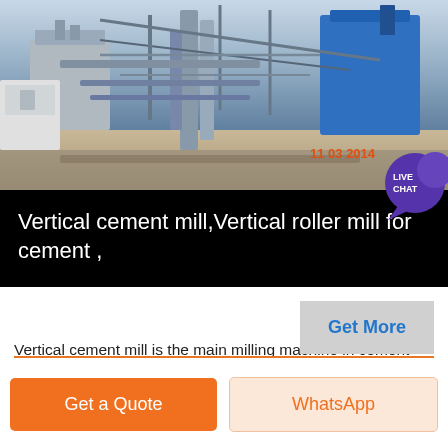[Figure (photo): Industrial cement plant facility photograph showing steel structures, conveyor systems, and industrial equipment under blue sky, with orange date timestamp reading '11 03 2014' in bottom right corner. A purple speech bubble with 'LIVE CHAT' text overlays the top-right corner.]
Vertical cement mill,Vertical roller mill for cement ,
Vertical cement mill is the main milling machine in cement plant, with large capacity, energy consumption and its fineness is up to 00445mm In the complete cement production line, vertical roller mill is used in three process Vertical roller mill for cement industry
Get More
Get a Quote   WhatsApp